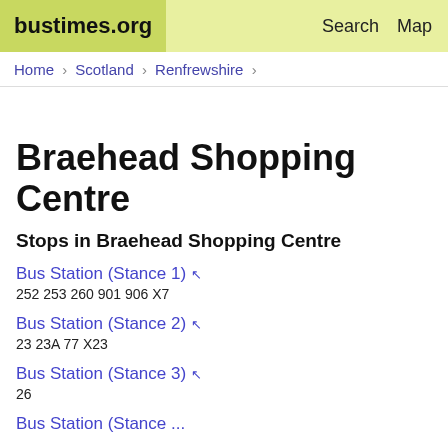bustimes.org | Search | Map
Home › Scotland › Renfrewshire ›
Braehead Shopping Centre
Stops in Braehead Shopping Centre
Bus Station (Stance 1) ↖
252  253  260  901  906  X7
Bus Station (Stance 2) ↖
23  23A  77  X23
Bus Station (Stance 3) ↖
26
Bus Station (Stance ...)